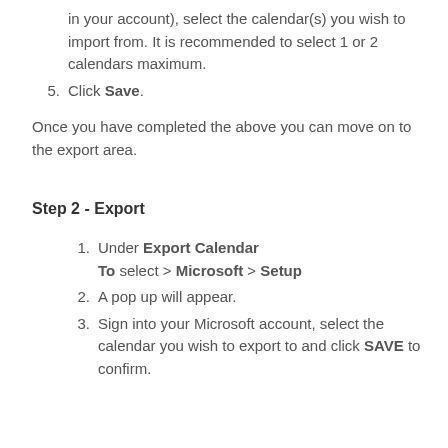in your account), select the calendar(s) you wish to import from. It is recommended to select 1 or 2 calendars maximum.
Click SAVE.
Once you have completed the above you can move on to the export area.
Step 2 - Export
Under Export Calendar To select > Microsoft > Setup
A pop up will appear.
Sign into your Microsoft account, select the calendar you wish to export to and click SAVE to confirm.